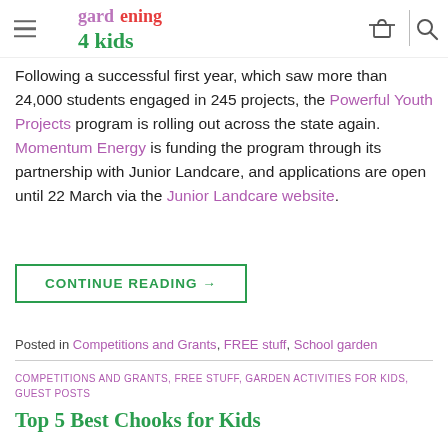Gardening 4 Kids [navigation header with logo, hamburger menu, cart icon, search icon]
Following a successful first year, which saw more than 24,000 students engaged in 245 projects, the Powerful Youth Projects program is rolling out across the state again. Momentum Energy is funding the program through its partnership with Junior Landcare, and applications are open until 22 March via the Junior Landcare website.
CONTINUE READING →
Posted in Competitions and Grants, FREE stuff, School garden
COMPETITIONS AND GRANTS, FREE STUFF, GARDEN ACTIVITIES FOR KIDS, GUEST POSTS
Top 5 Best Chooks for Kids